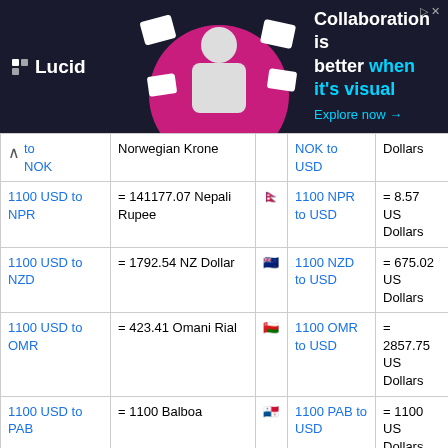[Figure (other): Lucid advertisement banner: 'Collaboration is better when it's visual. Explore now →']
| From | Conversion | Flag | From (reverse) | To (reverse) |
| --- | --- | --- | --- | --- |
| to NOK | Norwegian Krone |  | NOK to USD | Dollars |
| 1100 USD to NPR | = 141177.07 Nepali Rupee | 🇳🇵 | 1100 NPR to USD | = 8.57 US Dollars |
| 1100 USD to NZD | = 1792.54 NZ Dollar | 🇳🇿 | 1100 NZD to USD | = 675.02 US Dollars |
| 1100 USD to OMR | = 423.41 Omani Rial | 🇴🇲 | 1100 OMR to USD | = 2857.75 US Dollars |
| 1100 USD to PAB | = 1100 Balboa | 🇵🇦 | 1100 PAB to USD | = 1100 US Dollars |
| 1100 | = 4258.05 |  | 1100 | = 284.17 US |